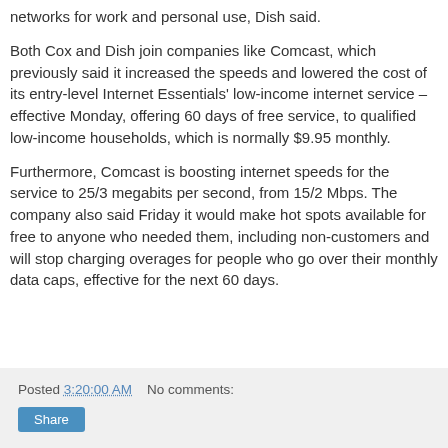networks for work and personal use, Dish said.
Both Cox and Dish join companies like Comcast, which previously said it increased the speeds and lowered the cost of its entry-level Internet Essentials' low-income internet service – effective Monday, offering 60 days of free service, to qualified low-income households, which is normally $9.95 monthly.
Furthermore, Comcast is boosting internet speeds for the service to 25/3 megabits per second, from 15/2 Mbps. The company also said Friday it would make hot spots available for free to anyone who needed them, including non-customers and will stop charging overages for people who go over their monthly data caps, effective for the next 60 days.
Posted 3:20:00 AM   No comments:   Share